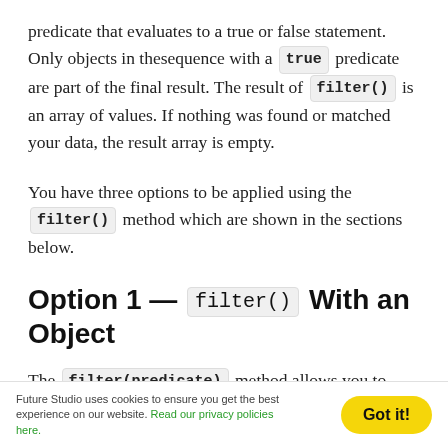predicate that evaluates to a true or false statement. Only objects in thesequence with a true predicate are part of the final result. The result of filter() is an array of values. If nothing was found or matched your data, the result array is empty.
You have three options to be applied using the filter() method which are shown in the sections below.
Option 1 — filter() With an Object
The filter(predicate) method allows you to specify an object that matches the selected keys of your model
Future Studio uses cookies to ensure you get the best experience on our website. Read our privacy policies here.